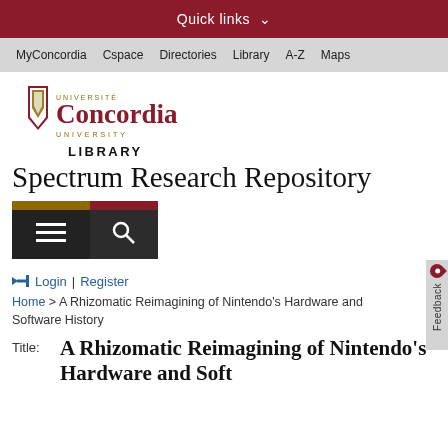Quick links
MyConcordia  Cspace  Directories  Library  A-Z  Maps
[Figure (logo): Concordia University logo with shield emblem and text 'UNIVERSITE Concordia UNIVERSITY']
LIBRARY
Spectrum Research Repository
[Figure (screenshot): Navigation menu icon (hamburger) and search icon buttons]
Login | Register
Home > A Rhizomatic Reimagining of Nintendo's Hardware and Software History
Title:  A Rhizomatic Reimagining of Nintendo's Hardware and Soft...